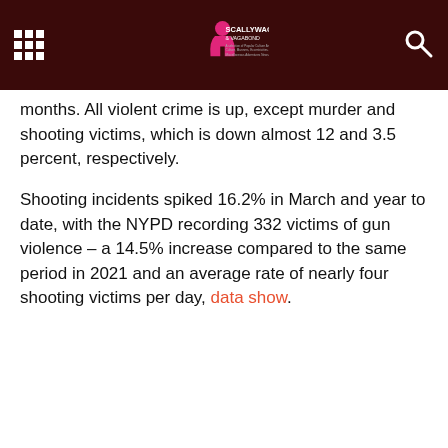Scallywag & Vagabond
months. All violent crime is up, except murder and shooting victims, which is down almost 12 and 3.5 percent, respectively.
Shooting incidents spiked 16.2% in March and year to date, with the NYPD recording 332 victims of gun violence – a 14.5% increase compared to the same period in 2021 and an average rate of nearly four shooting victims per day, data show.